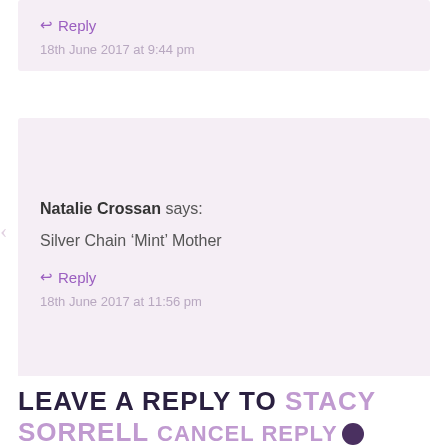↩ Reply
18th June 2017 at 9:44 pm
Natalie Crossan says:
Silver Chain 'Mint' Mother
↩ Reply
18th June 2017 at 11:56 pm
LEAVE A REPLY TO STACY SORRELL CANCEL REPLY